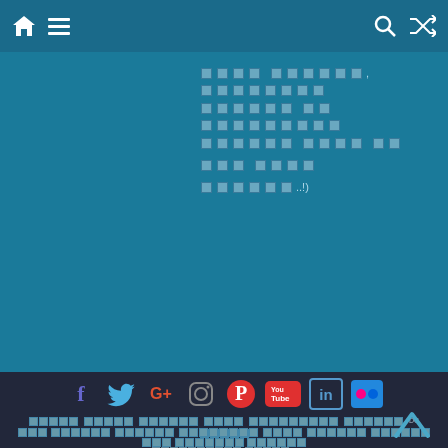Navigation bar with home icon, menu, search, and shuffle icons
Block of text in Telugu/Indic script (rendered as placeholder boxes due to font support)
[Figure (other): Social media icons row: Facebook (f), Twitter (bird), Google+ (G+), Instagram, Pinterest, YouTube, LinkedIn (in), Flickr]
Navigation footer links in Telugu script
Copyright © 2022 [Telugu text]. All rights reserved.